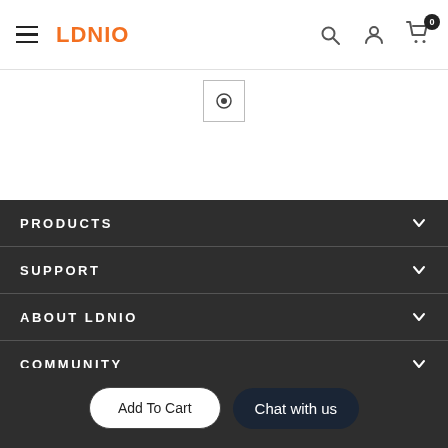LDNIO header with hamburger menu, logo, search, user, and cart icons
[Figure (screenshot): Thumbnail image placeholder with a circle/target icon inside a small bordered box]
PRODUCTS
SUPPORT
ABOUT LDNIO
COMMUNITY
Add To Cart
Chat with us